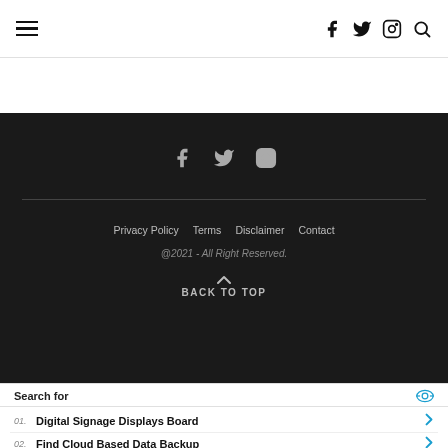≡  f  twitter  instagram  search
f  twitter  instagram (social icons in dark footer)
Privacy Policy   Terms   Disclaimer   Contact
@2021 - All Right Reserved.
BACK TO TOP
Search for
01.  Digital Signage Displays Board
02.  Find Cloud Based Data Backup
Yahoo! Search | Sponsored